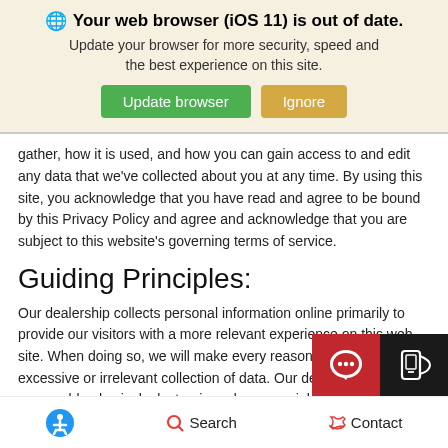[Figure (screenshot): Browser update warning banner with globe icon, bold text 'Your web browser (iOS 11) is out of date.', subtitle 'Update your browser for more security, speed and the best experience on this site.', green 'Update browser' button and tan 'Ignore' button.]
gather, how it is used, and how you can gain access to and edit any data that we've collected about you at any time. By using this site, you acknowledge that you have read and agree to be bound by this Privacy Policy and agree and acknowledge that you are subject to this website's governing terms of service.
Guiding Principles:
Our dealership collects personal information online primarily to provide our visitors with a more relevant experience on this web site. When doing so, we will make every reasonable effort to avoid excessive or irrelevant collection of data. Our deal[ership] will reasonable physical, electronic and managerial m[easures] to safeguard and secure any personal information you provide to us
Accessibility  Search  Contact